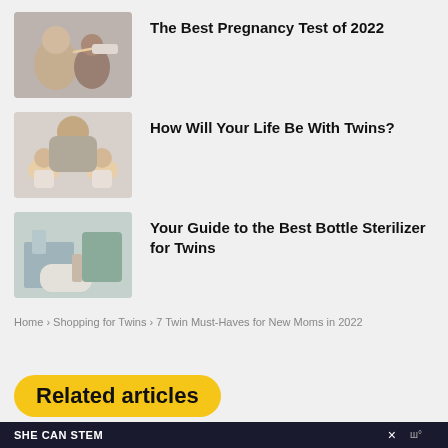[Figure (photo): A couple looking at a pregnancy test together, smiling]
The Best Pregnancy Test of 2022
[Figure (photo): A family with twin babies lying down, overhead view]
How Will Your Life Be With Twins?
[Figure (photo): A parent preparing baby bottles in a kitchen]
Your Guide to the Best Bottle Sterilizer for Twins
Home › Shopping for Twins › 7 Twin Must-Haves for New Moms in 2022
Related articles
SHE CAN STEM